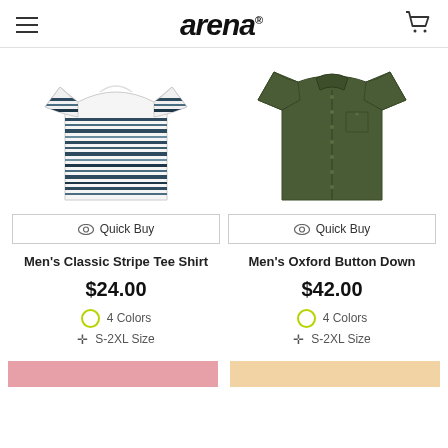arena
[Figure (photo): Men's Classic Stripe Tee Shirt - white with horizontal dark navy/grey stripes]
Quick Buy
Men's Classic Stripe Tee Shirt
$24.00
4 Colors
S-2XL Size
[Figure (photo): Men's Oxford Button Down - olive green long sleeve button-up shirt]
Quick Buy
Men's Oxford Button Down
$42.00
4 Colors
S-2XL Size